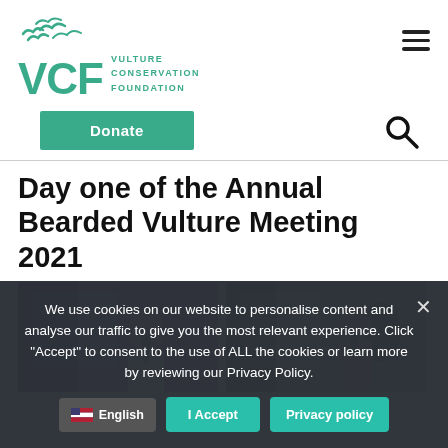[Figure (logo): Vulture Conservation Foundation (VCF) logo with flying vultures silhouettes and teal text]
[Figure (screenshot): Hamburger menu icon (three horizontal lines)]
[Figure (screenshot): Donate button in teal and search magnifying glass icon]
Day one of the Annual Bearded Vulture Meeting 2021
[Figure (photo): Photo of a person speaking at a conference microphone in front of a projection screen]
[Figure (photo): Photo of another person speaking at a conference microphone in front of a projection screen]
We use cookies on our website to personalise content and analyse our traffic to give you the most relevant experience. Click "Accept" to consent to the use of ALL the cookies or learn more by reviewing our Privacy Policy.
[Figure (screenshot): Cookie consent bar with English language selector, I Accept button, and Privacy policy button]